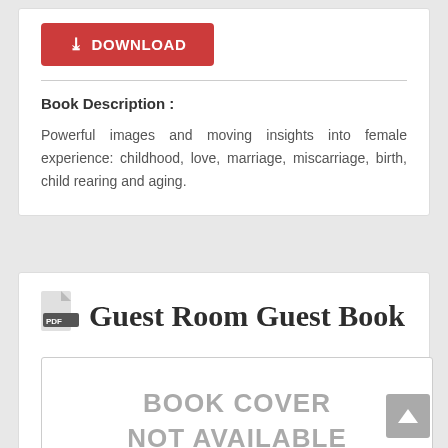[Figure (other): Red download button with download icon and text DOWNLOAD]
Book Description :
Powerful images and moving insights into female experience: childhood, love, marriage, miscarriage, birth, child rearing and aging.
Guest Room Guest Book
[Figure (other): Book cover placeholder with text BOOK COVER NOT AVAILABLE]